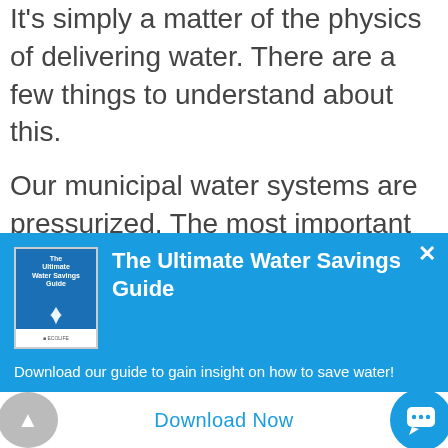It's simply a matter of the physics of delivering water. There are a few things to understand about this.
Our municipal water systems are pressurized. The most important thing to keep in mind about this is that water moves from high to low pressure in a pressurized system.
[Figure (infographic): Popup banner with blue background showing 'The Ultimate Water Savings Guide' with a book cover image, description text, and a Download Now button]
The Ultimate Water Savings Guide
Download our guide to gain insight on how to save water!
Download Now